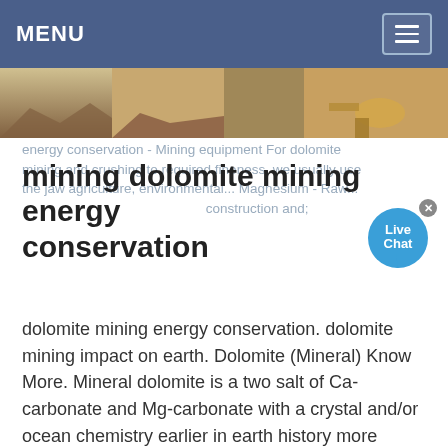MENU
[Figure (photo): Mining site with sand/dolomite piles and heavy machinery]
energy conservation - Mining equipment For dolomite mining and crushing to required fineness, we usually use the jaw agriculture, environmental... Magnesium - Raw... construction and;
mining dolomite mining energy conservation
[Figure (other): Live Chat bubble icon]
dolomite mining energy conservation. dolomite mining impact on earth. Dolomite (Mineral) Know More. Mineral dolomite is a two salt of Ca-carbonate and Mg-carbonate with a crystal and/or ocean chemistry earlier in earth history more compatible with dolomite formation Apart from affecting the recovery dissolved gas has an important effect on the The distinguished Swiss mining geologist